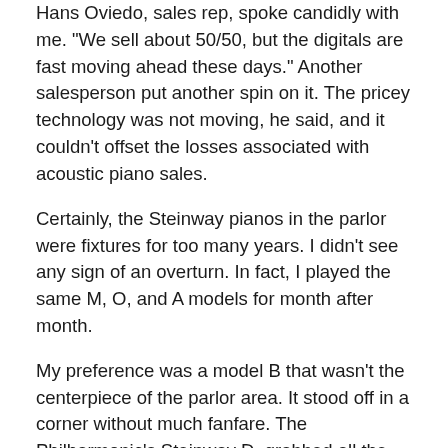Hans Oviedo, sales rep, spoke candidly with me. "We sell about 50/50, but the digitals are fast moving ahead these days." Another salesperson put another spin on it. The pricey technology was not moving, he said, and it couldn't offset the losses associated with acoustic piano sales.
Certainly, the Steinway pianos in the parlor were fixtures for too many years. I didn't see any sign of an overturn. In fact, I played the same M, O, and A models for month after month.
My preference was a model B that wasn't the centerpiece of the parlor area. It stood off in a corner without much fanfare. The Philharmonic's Steinway D, grabbed all the attention, being roped off on display between concerts.
If I hadn't been over-saturated with digital hardware mania during my visit, there was still another enclosed area in the